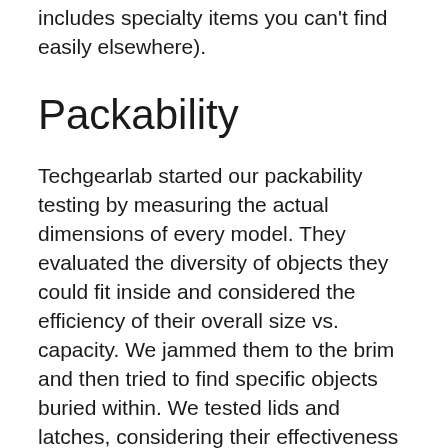includes specialty items you can't find easily elsewhere).
Packability
Techgearlab started our packability testing by measuring the actual dimensions of every model. They evaluated the diversity of objects they could fit inside and considered the efficiency of their overall size vs. capacity. We jammed them to the brim and then tried to find specific objects buried within. We tested lids and latches, considering their effectiveness and ease of use. We also took into account the optional sizes and colors in which each bin can be purchased.